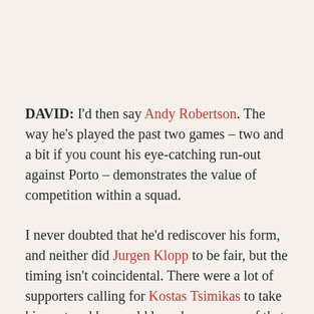DAVID: I'd then say Andy Robertson. The way he's played the past two games – two and a bit if you count his eye-catching run-out against Porto – demonstrates the value of competition within a squad.
I never doubted that he'd rediscover his form, and neither did Jurgen Klopp to be fair, but the timing isn't coincidental. There were a lot of supporters calling for Kostas Tsimikas to take his spot and he would have been aware of that.